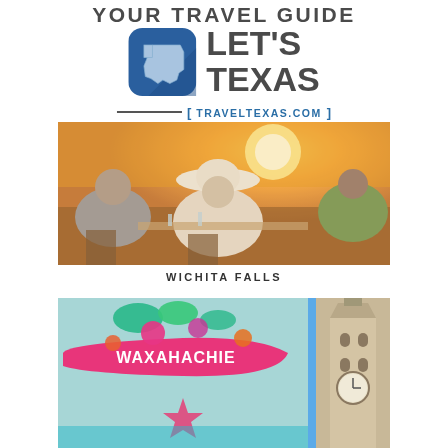YOUR TRAVEL GUIDE
[Figure (logo): Let's Texas logo with blue rounded-square icon containing Texas state silhouette and the text LET'S TEXAS]
TRAVELTEXAS.COM
[Figure (photo): People seated outdoors at a table in warm sunset light, woman wearing a large white hat, social gathering scene in Wichita Falls]
WICHITA FALLS
[Figure (photo): Colorful street mural with WAXAHACHIE text in pink and teal colors, with a historic courthouse tower visible on the right side]